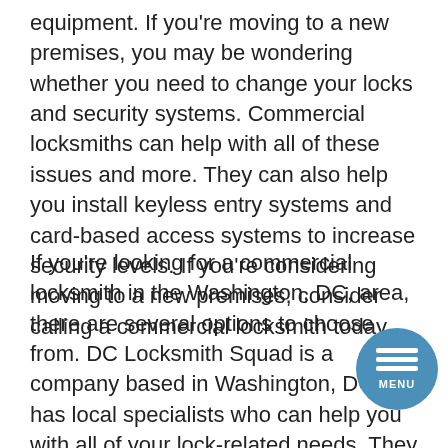equipment. If you're moving to a new premises, you may be wondering whether you need to change your locks and security systems. Commercial locksmiths can help with all of these issues and more. They can also help you install keyless entry systems and card-based access systems to increase security levels. If you're considering moving to a new premises, consider calling a commercial locksmith today.
If you're looking for a commercial locksmith in the Washington, DC, area, there are several options to choose from. DC Locksmith Squad is a company based in Washington, DC that has local specialists who can help you with all of your lock-related needs. They offer both residential and commercial locksmith services in DC. You can even call them for emergency lockouts and door replacement. DC Locksmith Squad can handle any emergency lockout service you may need.
[Figure (other): Circular blue menu button with three white horizontal bars and the word MENU below them]